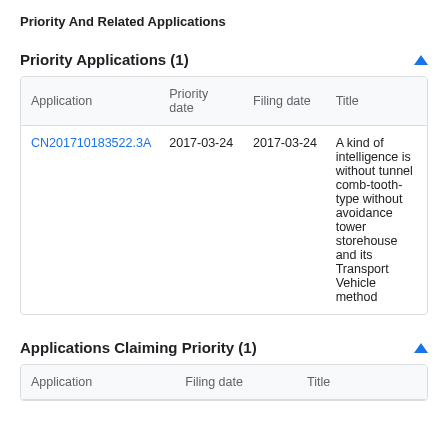Priority And Related Applications
Priority Applications (1)
| Application | Priority date | Filing date | Title |
| --- | --- | --- | --- |
| CN201710183522.3A | 2017-03-24 | 2017-03-24 | A kind of intelligence is without tunnel comb-tooth-type without avoidance tower storehouse and its Transport Vehicle method |
Applications Claiming Priority (1)
| Application | Filing date | Title |
| --- | --- | --- |